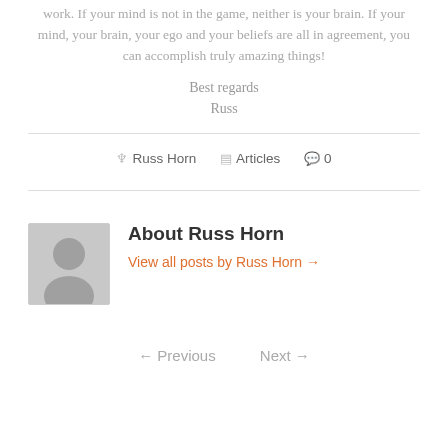work. If your mind is not in the game, neither is your brain. If your mind, your brain, your ego and your beliefs are all in agreement, you can accomplish truly amazing things!
Best regards
Russ
Russ Horn  Articles  0
About Russ Horn
View all posts by Russ Horn →
← Previous   Next →